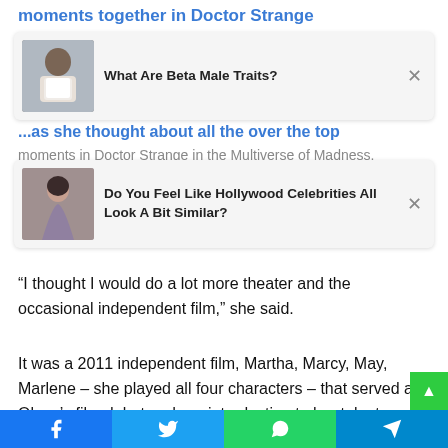moments together in Doctor Strange in the Multiverse of Madness.
[Figure (screenshot): Ad card: 'What Are Beta Male Traits?' with image of a muscular person in white tank top and close button]
New York University found much gradualkin career came as a surprise to her.
[Figure (screenshot): Ad card: 'Do You Feel Like Hollywood Celebrities All Look A Bit Similar?' with image of a woman and close button]
“I thought I would do a lot more theater and the occasional independent film,” she said.
It was a 2011 independent film, Martha, Marcy, May, Marlene – she played all four characters – that served as Olsen’s film debut and our introduction to her talent.
Social share bar: Facebook, Twitter, WhatsApp, Telegram